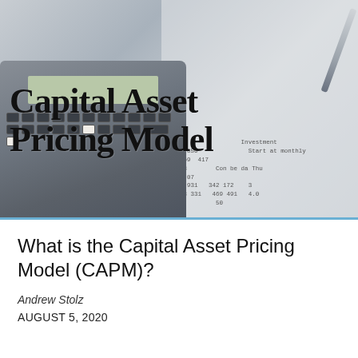[Figure (photo): Background photo of a calculator, pen, and financial spreadsheet with handwritten numbers, overlaid with the text 'Capital Asset Pricing Model' in large brush-style lettering]
What is the Capital Asset Pricing Model (CAPM)?
Andrew Stolz
AUGUST 5, 2020